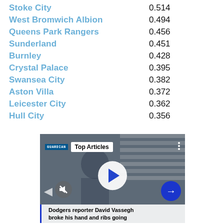| Team | Score |
| --- | --- |
| Stoke City | 0.514 |
| West Bromwich Albion | 0.494 |
| Queens Park Rangers | 0.456 |
| Sunderland | 0.451 |
| Burnley | 0.428 |
| Crystal Palace | 0.395 |
| Swansea City | 0.382 |
| Aston Villa | 0.372 |
| Leicester City | 0.362 |
| Hull City | 0.356 |
[Figure (screenshot): Video player showing Top Articles section from The Guardian. A person is visible in the background. Overlay shows play button, mute button, navigation arrows, and a caption reading 'Dodgers reporter David Vassegh broke his hand and ribs going']
Dodgers reporter David Vassegh broke his hand and ribs going